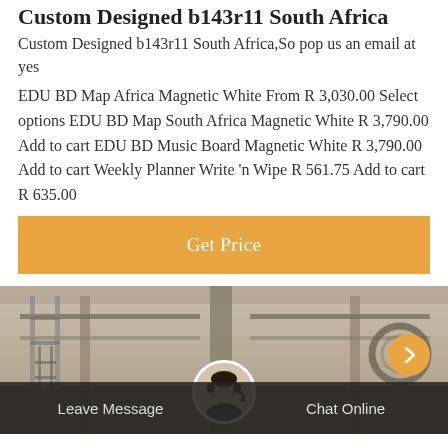Custom Designed b143r11 South Africa
Custom Designed b143r11 South Africa,So pop us an email at yes
EDU BD Map Africa Magnetic White From R 3,030.00 Select options EDU BD Map South Africa Magnetic White R 3,790.00 Add to cart EDU BD Music Board Magnetic White R 3,790.00 Add to cart Weekly Planner Write 'n Wipe R 561.75 Add to cart R 635.00
[Figure (other): Orange 'Get Price' button]
[Figure (photo): Industrial/gym interior sepia-toned background photo with a customer service avatar circle and navigation arrow, and a bottom dark bar with 'Leave Message' and 'Chat Online' options]